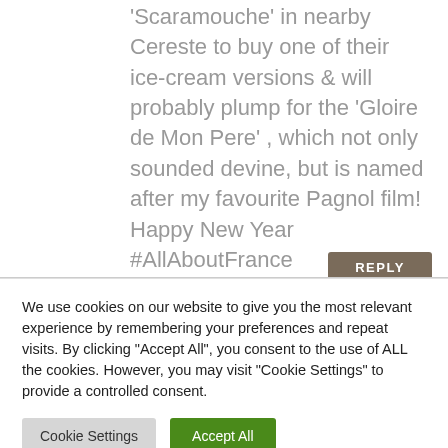'Scaramouche' in nearby Cereste to buy one of their ice-cream versions & will probably plump for the 'Gloire de Mon Pere' , which not only sounded devine, but is named after my favourite Pagnol film! Happy New Year #AllAboutFrance
REPLY
We use cookies on our website to give you the most relevant experience by remembering your preferences and repeat visits. By clicking "Accept All", you consent to the use of ALL the cookies. However, you may visit "Cookie Settings" to provide a controlled consent.
Cookie Settings
Accept All
Share This ∨  ✕